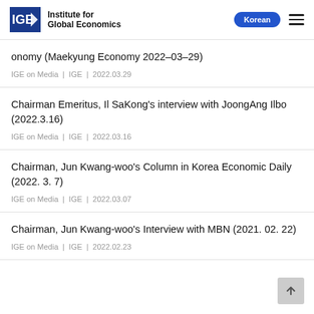Institute for Global Economics
onomy (Maekyung Economy 2022–03–29)
IGE on Media | IGE | 2022.03.29
Chairman Emeritus, Il SaKong's interview with JoongAng Ilbo (2022.3.16)
IGE on Media | IGE | 2022.03.16
Chairman, Jun Kwang-woo's Column in Korea Economic Daily (2022. 3. 7)
IGE on Media | IGE | 2022.03.07
Chairman, Jun Kwang-woo's Interview with MBN (2021. 02. 22)
IGE on Media | IGE | 2022.02.23